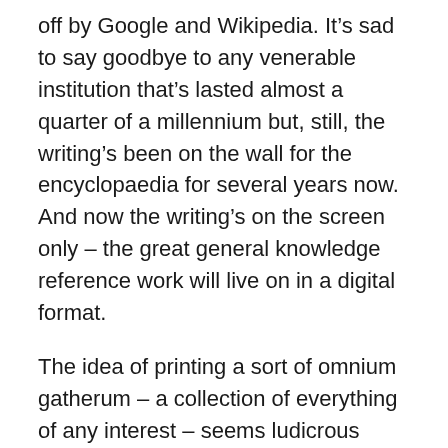off by Google and Wikipedia. It's sad to say goodbye to any venerable institution that's lasted almost a quarter of a millennium but, still, the writing's been on the wall for the encyclopaedia for several years now. And now the writing's on the screen only – the great general knowledge reference work will live on in a digital format.
The idea of printing a sort of omnium gatherum – a collection of everything of any interest – seems ludicrous these days, as well as impossible, when the job is done so much better by a tiny laptop, thinner than a single volume of Britannica. What chance then for two new mammoth publications, out this week – the fourth edition of the Oxford Classical Dictionary (OCD), 1,680 pages long, costing £100; and the second edition of the Oxford Latin Dictionary,